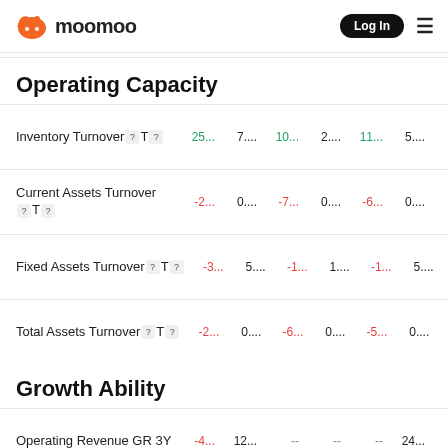moomoo  Log In
Operating Capacity
Inventory Turnover [T]  25... 7.... 10... 2.... 11... 5.... -- 2.1...
Current Assets Turnover [T]  -2... 0.... -7... 0.... -6... 0.... -- 0....
Fixed Assets Turnover [T]  -3... 5.... -1... 1.... -1... 5.... -- 2....
Total Assets Turnover [T]  -2... 0.... -6... 0.... -5... 0.... -- 0....
Growth Ability
Operating Revenue GR 3Y  -4... 12... -- -- -- 24... --